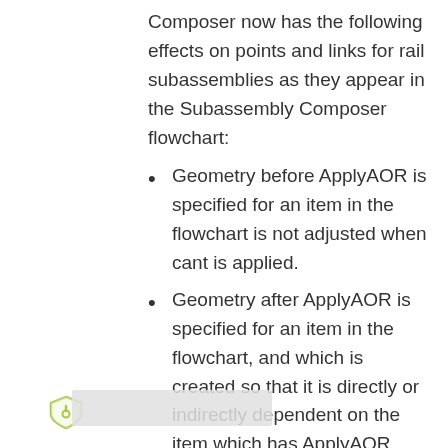Composer now has the following effects on points and links for rail subassemblies as they appear in the Subassembly Composer flowchart:
Geometry before ApplyAOR is specified for an item in the flowchart is not adjusted when cant is applied.
Geometry after ApplyAOR is specified for an item in the flowchart, and which is created so that it is directly or indirectly dependent on the item which has ApplyAOR defined, is adjusted when cant is applied.
Because of these effects, you can achieve the expected cant behavior by specifying the